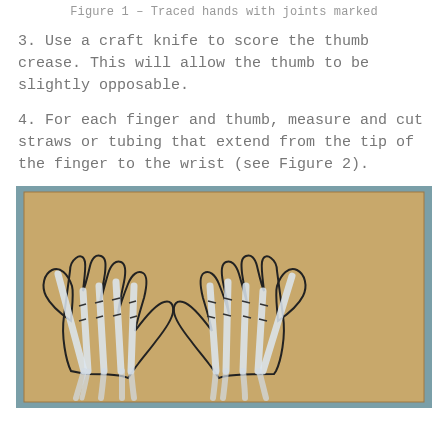Figure 1 – Traced hands with joints marked
3. Use a craft knife to score the thumb crease. This will allow the thumb to be slightly opposable.
4. For each finger and thumb, measure and cut straws or tubing that extend from the tip of the finger to the wrist (see Figure 2).
[Figure (photo): Two traced hand outlines on brown cardboard/paper with joints marked and clear straws/tubing placed along each finger from tip to wrist.]